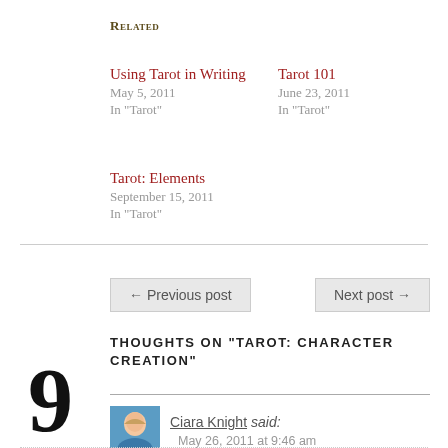Related
Using Tarot in Writing
May 5, 2011
In "Tarot"
Tarot 101
June 23, 2011
In "Tarot"
Tarot: Elements
September 15, 2011
In "Tarot"
← Previous post
Next post →
THOUGHTS ON “TAROT: CHARACTER CREATION”
9
Ciara Knight said: May 26, 2011 at 9:46 am